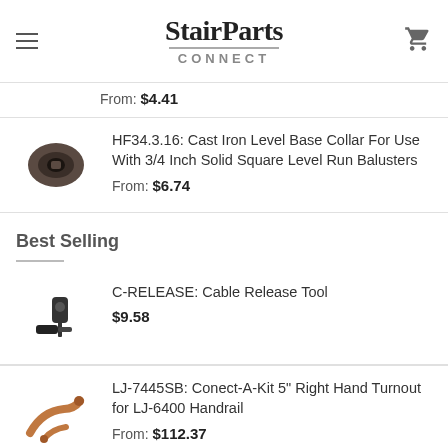StairParts CONNECT
From: $4.41
HF34.3.16: Cast Iron Level Base Collar For Use With 3/4 Inch Solid Square Level Run Balusters
From: $6.74
Best Selling
C-RELEASE: Cable Release Tool
$9.58
LJ-7445SB: Conect-A-Kit 5" Right Hand Turnout for LJ-6400 Handrail
From: $112.37
OR-4012-400 M4bVC4: 4" Missing 4 LH V...